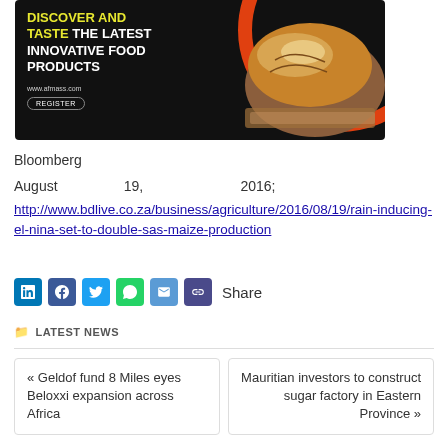[Figure (illustration): Advertisement banner with black background showing 'DISCOVER AND TASTE THE LATEST INNOVATIVE FOOD PRODUCTS' text with bread/loaf image and orange circle design, www.afmass.com, REGISTER button]
Bloomberg
August 19, 2016; http://www.bdlive.co.za/business/agriculture/2016/08/19/rain-inducing-el-nina-set-to-double-sas-maize-production
Share
LATEST NEWS
« Geldof fund 8 Miles eyes Beloxxi expansion across Africa
Mauritian investors to construct sugar factory in Eastern Province »